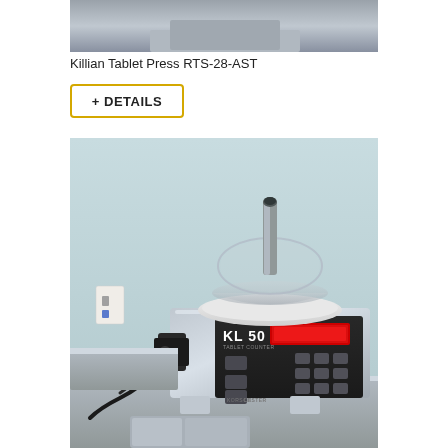[Figure (photo): Top portion of a tablet press machine, cropped image showing part of the Killian Tablet Press RTS-28-AST]
Killian Tablet Press RTS-28-AST
+ DETAILS
[Figure (photo): KL 50 Tablet Counter machine by Korsch Lester, shown on a stainless steel surface with a circular funnel/bowl on top, a red LED display, keypad buttons, and a side-mounted optical sensor. The machine is photographed against a light blue wall with a white electrical outlet visible.]